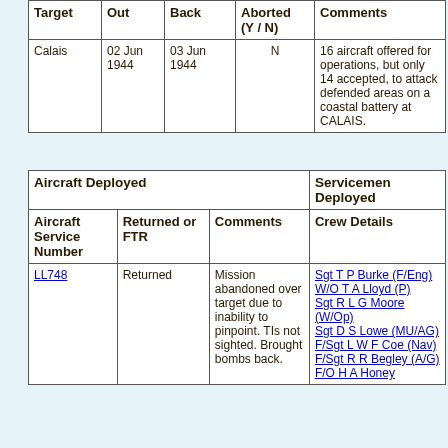| Target | Out | Back | Aborted (Y / N) | Comments |
| --- | --- | --- | --- | --- |
| Calais | 02 Jun 1944 | 03 Jun 1944 | N | 16 aircraft offered for operations, but only 14 accepted, to attack defended areas on a coastal battery at CALAIS. |
| Aircraft Deployed |  |  | Servicemen Deployed |
| --- | --- | --- | --- |
| Aircraft Service Number | Returned or FTR | Comments | Crew Details |
| LL748 | Returned | Mission abandoned over target due to inability to pinpoint. TIs not sighted. Brought bombs back. | Sgt T P Burke (F/Eng)
W/O T A Lloyd (P)
Sgt R L G Moore (W/Op)
Sgt D S Lowe (MU/AG)
F/Sgt L W F Coe (Nav)
F/Sgt R R Begley (A/G)
F/O H A Honey |